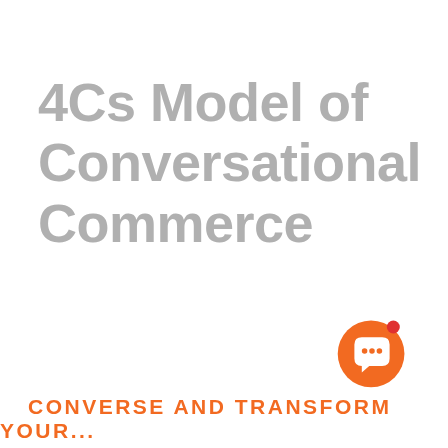4Cs Model of Conversational Commerce
[Figure (logo): Orange circular chat bubble icon with three dots and a small red notification dot in the top right]
CONVERSE and some other text (partially visible)